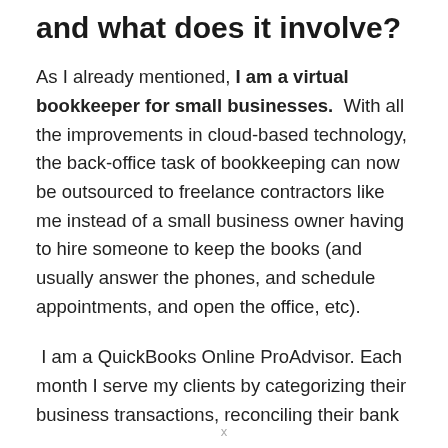and what does it involve?
As I already mentioned, I am a virtual bookkeeper for small businesses.  With all the improvements in cloud-based technology, the back-office task of bookkeeping can now be outsourced to freelance contractors like me instead of a small business owner having to hire someone to keep the books (and usually answer the phones, and schedule appointments, and open the office, etc).
I am a QuickBooks Online ProAdvisor. Each month I serve my clients by categorizing their business transactions, reconciling their bank